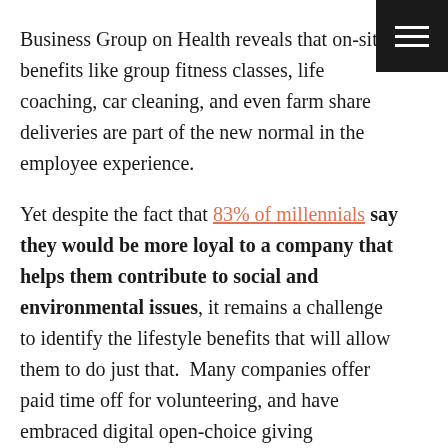Business Group on Health reveals that on-site benefits like group fitness classes, life coaching, car cleaning, and even farm share deliveries are part of the new normal in the employee experience.
Yet despite the fact that 83% of millennials say they would be more loyal to a company that helps them contribute to social and environmental issues, it remains a challenge to identify the lifestyle benefits that will allow them to do just that. Many companies offer paid time off for volunteering, and have embraced digital open-choice giving platforms. But the on-site, experiential element of doing good has been difficult to weave into the day-to-day reality of work.
The companies that have embraced Peril...